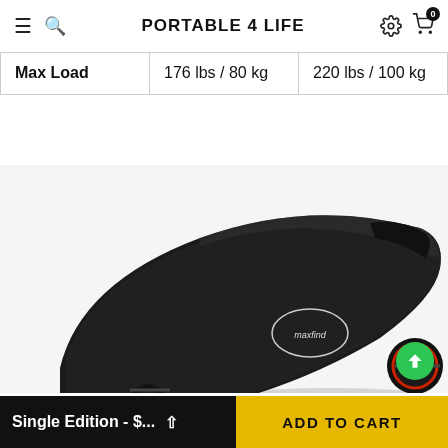PORTABLE 4 LIFE
| Max Load | 176 lbs / 80 kg | 220 lbs / 100 kg |
[Figure (photo): A black electric skateboard (Maxfind brand) viewed from above at an angle, showing the black deck with grip tape, round motor hub wheel with red accent on the right, and smaller front wheel on the left. The board tapers to a point at the far end.]
Single Edition - $... ▲
ADD TO CART